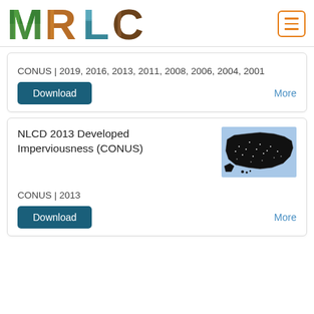[Figure (logo): MRLC logo with nature-themed letters M R L C]
CONUS | 2019, 2016, 2013, 2011, 2008, 2006, 2004, 2001
Download
More
NLCD 2013 Developed Imperviousness (CONUS)
[Figure (map): Map of CONUS showing developed imperviousness data points]
CONUS | 2013
Download
More